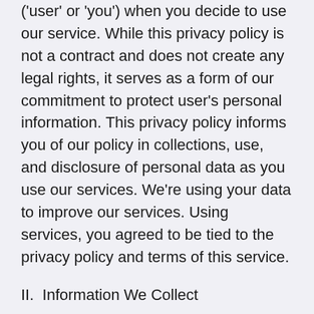('user' or 'you') when you decide to use our service. While this privacy policy is not a contract and does not create any legal rights, it serves as a form of our commitment to protect user's personal information. This privacy policy informs you of our policy in collections, use, and disclosure of personal data as you use our services. We're using your data to improve our services. Using services, you agreed to be tied to the privacy policy and terms of this service.
II.  Information We Collect
We collected some kind of information from the data you gave us. We only gather necessary and relevant information for the purposes you need